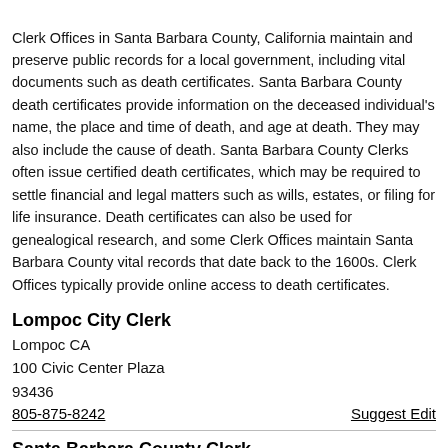Clerk Offices in Santa Barbara County, California maintain and preserve public records for a local government, including vital documents such as death certificates. Santa Barbara County death certificates provide information on the deceased individual's name, the place and time of death, and age at death. They may also include the cause of death. Santa Barbara County Clerks often issue certified death certificates, which may be required to settle financial and legal matters such as wills, estates, or filing for life insurance. Death certificates can also be used for genealogical research, and some Clerk Offices maintain Santa Barbara County vital records that date back to the 1600s. Clerk Offices typically provide online access to death certificates.
Lompoc City Clerk
Lompoc CA
100 Civic Center Plaza
93436
805-875-8242
Suggest Edit
Santa Barbara County Clerk
Lompoc CA